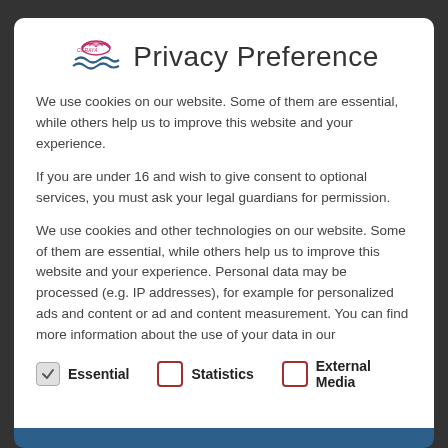[Figure (logo): Coraya logo with bird and wave motif in pink/blue]
Privacy Preference
We use cookies on our website. Some of them are essential, while others help us to improve this website and your experience.
If you are under 16 and wish to give consent to optional services, you must ask your legal guardians for permission.
We use cookies and other technologies on our website. Some of them are essential, while others help us to improve this website and your experience. Personal data may be processed (e.g. IP addresses), for example for personalized ads and content or ad and content measurement. You can find more information about the use of your data in our
Essential (checked)
Statistics (unchecked)
External Media (unchecked)